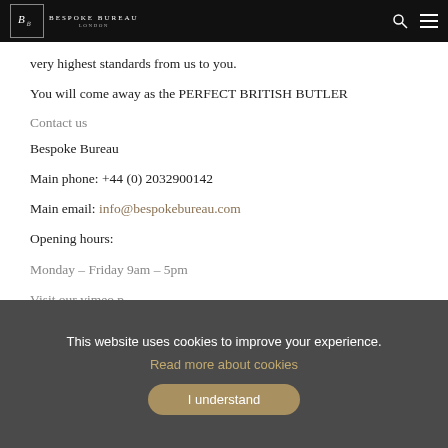Bespoke Bureau London
very highest standards from us to you.
You will come away as the PERFECT BRITISH BUTLER
Contact us
Bespoke Bureau
Main phone: +44 (0) 2032900142
Main email: info@bespokebureau.com
Opening hours:
Monday – Friday 9am – 5pm
Visit our vimeo p
This website uses cookies to improve your experience. Read more about cookies I understand